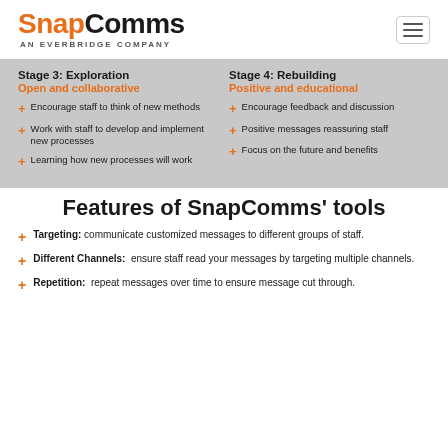[Figure (logo): SnapComms logo with 'AN EVERBRIDGE COMPANY' tagline and hamburger menu icon]
[Figure (infographic): Two-column infographic showing Stage 3: Exploration (Open and collaborative) and Stage 4: Rebuilding (Positive and educational) with bullet points for each stage on gray background]
Features of SnapComms' tools
Targeting: communicate customized messages to different groups of staff.
Different Channels: ensure staff read your messages by targeting multiple channels.
Repetition: repeat messages over time to ensure message cut through.